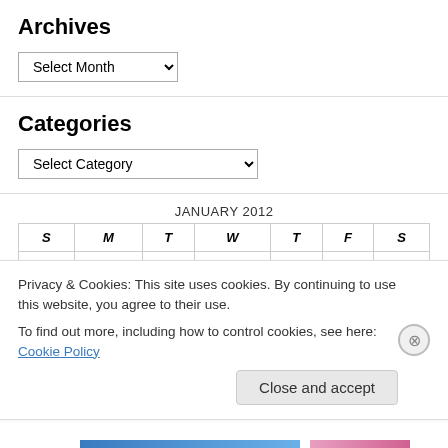Archives
Select Month (dropdown)
Categories
Select Category (dropdown)
| S | M | T | W | T | F | S |
| --- | --- | --- | --- | --- | --- | --- |
| 1 | 2 | 3 | 4 | 5 | 6 | 7 |
Privacy & Cookies: This site uses cookies. By continuing to use this website, you agree to their use.
To find out more, including how to control cookies, see here: Cookie Policy
Close and accept